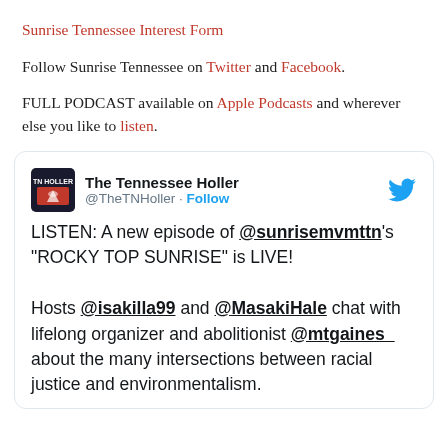Sunrise Tennessee Interest Form
Follow Sunrise Tennessee on Twitter and Facebook.
FULL PODCAST available on Apple Podcasts and wherever else you like to listen.
[Figure (screenshot): Embedded tweet from @TheTNHoller (The Tennessee Holler) with Twitter bird icon. Tweet text: LISTEN: A new episode of @sunrisemvmttn's "ROCKY TOP SUNRISE" is LIVE! Hosts @isakilla99 and @MasakiHale chat with lifelong organizer and abolitionist @mtgaines_ about the many intersections between racial justice and environmentalism.]